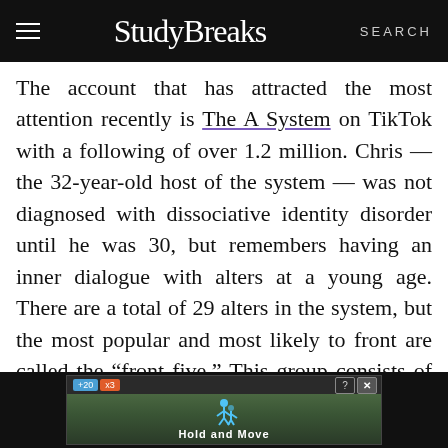StudyBreaks — SEARCH
The account that has attracted the most attention recently is The A System on TikTok with a following of over 1.2 million. Chris — the 32-year-old host of the system — was not diagnosed with dissociative identity disorder until he was 30, but remembers having an inner dialogue with alters at a young age. There are a total of 29 alters in the system, but the most popular and most likely to front are called the “front five.” This group consists of Chris, Alex (the primary protector with a husky voice
[Figure (screenshot): Advertisement banner showing a game with icon of person and text 'Hold and Move', with score indicators +20 and x3]